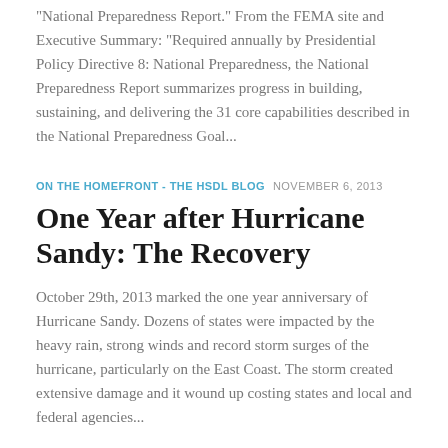"National Preparedness Report." From the FEMA site and Executive Summary: "Required annually by Presidential Policy Directive 8: National Preparedness, the National Preparedness Report summarizes progress in building, sustaining, and delivering the 31 core capabilities described in the National Preparedness Goal...
ON THE HOMEFRONT - THE HSDL BLOG   NOVEMBER 6, 2013
One Year after Hurricane Sandy: The Recovery
October 29th, 2013 marked the one year anniversary of Hurricane Sandy. Dozens of states were impacted by the heavy rain, strong winds and record storm surges of the hurricane, particularly on the East Coast. The storm created extensive damage and it wound up costing states and local and federal agencies...